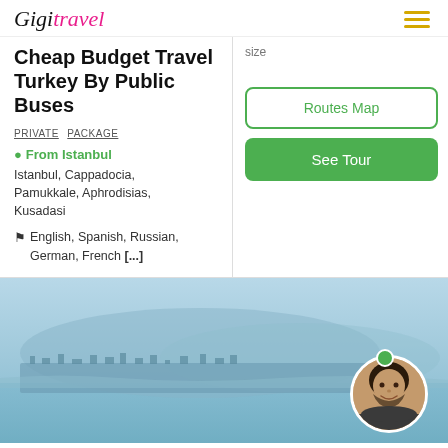Gigi Travel
Cheap Budget Travel Turkey By Public Buses
PRIVATE PACKAGE
From Istanbul
Istanbul, Cappadocia, Pamukkale, Aphrodisias, Kusadasi
English, Spanish, Russian, German, French [...]
size
[Figure (other): Routes Map button (outlined green)]
[Figure (other): See Tour button (solid green)]
[Figure (photo): Aerial panoramic view of Istanbul cityscape from the sea with a circular profile photo of a smiling man with a green online indicator dot in the lower right corner]